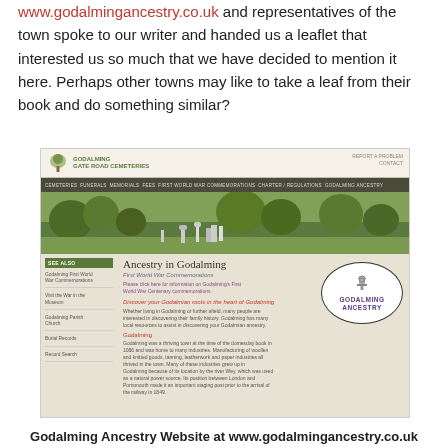www.godalmingancestry.co.uk and representatives of the town spoke to our writer and handed us a leaflet that interested us so much that we have decided to mention it here. Perhaps other towns may like to take a leaf from their book and do something similar?
[Figure (screenshot): Screenshot of the Godalming Ancestry website (www.godalmingancestry.co.uk) showing a navigation bar, a hero image of a cemetery with trees and gravestones, a sidebar with 'SEE ALSO' links, main content titled 'Ancestry in Godalming' with subheading 'First World War Commemorations', a 'Godalming Ancestry' oval logo on the right, and body text about discovering Godalmian roots.]
Godalming Ancestry Website at www.godalmingancestry.co.uk